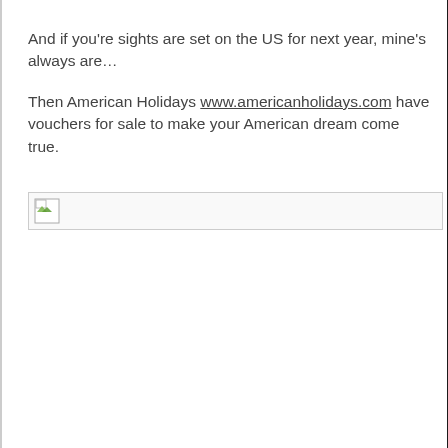And if you're sights are set on the US for next year, mine's always are…
Then American Holidays www.americanholidays.com have vouchers for sale to make your American dream come true.
[Figure (photo): Broken image placeholder showing a small landscape/image icon with a rectangular border]